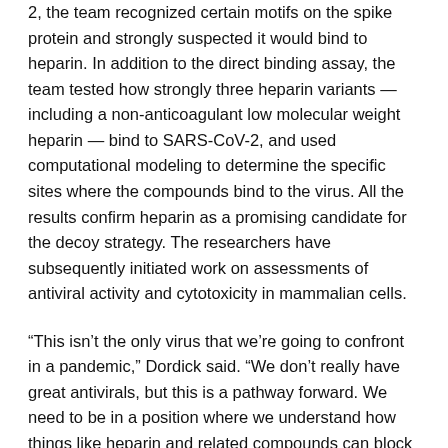2, the team recognized certain motifs on the spike protein and strongly suspected it would bind to heparin. In addition to the direct binding assay, the team tested how strongly three heparin variants — including a non-anticoagulant low molecular weight heparin — bind to SARS-CoV-2, and used computational modeling to determine the specific sites where the compounds bind to the virus. All the results confirm heparin as a promising candidate for the decoy strategy. The researchers have subsequently initiated work on assessments of antiviral activity and cytotoxicity in mammalian cells.
“This isn’t the only virus that we’re going to confront in a pandemic,” Dordick said. “We don’t really have great antivirals, but this is a pathway forward. We need to be in a position where we understand how things like heparin and related compounds can block virus entry.”
In previous work, a team led by Linhardt and Dordick